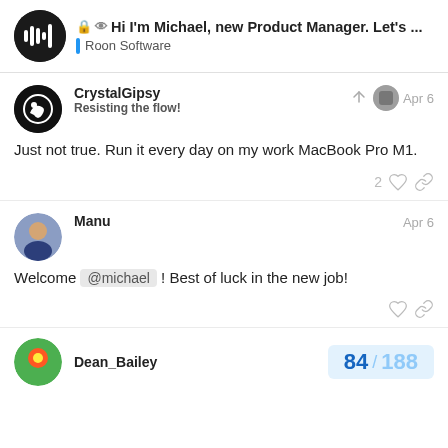Hi I'm Michael, new Product Manager. Let's ... — Roon Software
CrystalGipsy
Resisting the flow!
Apr 6
Just not true. Run it every day on my work MacBook Pro M1.
Manu
Apr 6
Welcome @michael ! Best of luck in the new job!
Dean_Bailey
84 / 188